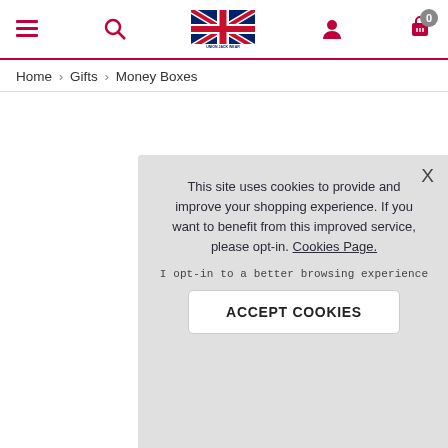Union Jack Wear - navigation header with menu, search, logo, user, and cart icons
Home > Gifts > Money Boxes
This site uses cookies to provide and improve your shopping experience. If you want to benefit from this improved service, please opt-in. Cookies Page.
I opt-in to a better browsing experience
ACCEPT COOKIES